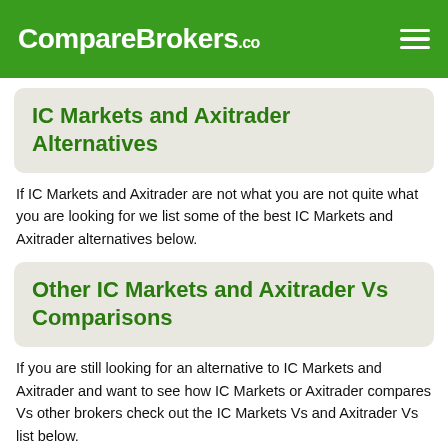CompareBrokers.co
IC Markets and Axitrader Alternatives
If IC Markets and Axitrader are not what you are not quite what you are looking for we list some of the best IC Markets and Axitrader alternatives below.
Other IC Markets and Axitrader Vs Comparisons
If you are still looking for an alternative to IC Markets and Axitrader and want to see how IC Markets or Axitrader compares Vs other brokers check out the IC Markets Vs and Axitrader Vs list below.